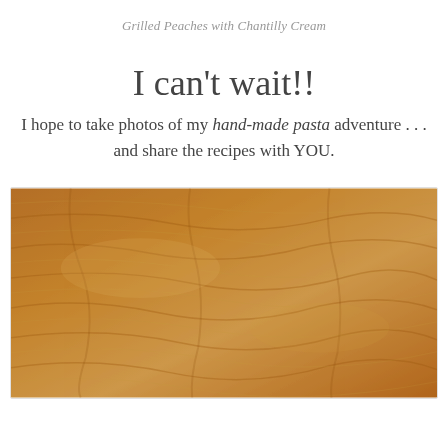Grilled Peaches with Chantilly Cream
I can't wait!!
I hope to take photos of my hand-made pasta adventure . . . and share the recipes with YOU.
[Figure (photo): Close-up photo of a wooden surface showing wood grain texture in warm brown and tan tones]